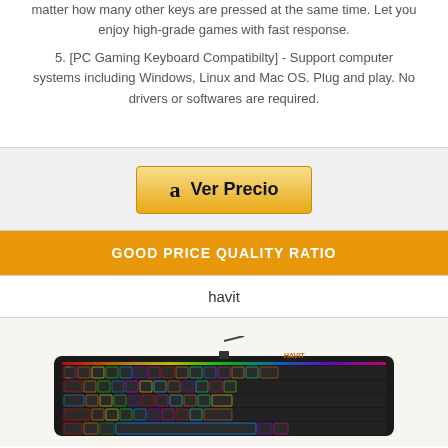matter how many other keys are pressed at the same time. Let you enjoy high-grade games with fast response.
5. [PC Gaming Keyboard Compatibilty] - Support computer systems including Windows, Linux and Mac OS. Plug and play. No drivers or softwares are required.
[Figure (other): Amazon 'Ver Precio' button with Amazon logo]
GOOD PRICE QUALITY RATIO
havit
[Figure (photo): Photo of a havit RGB gaming keyboard with colorful backlit keys]